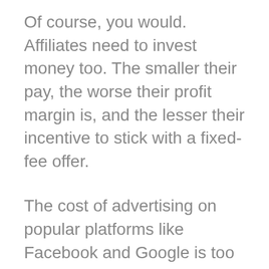Of course, you would. Affiliates need to invest money too. The smaller their pay, the worse their profit margin is, and the lesser their incentive to stick with a fixed-fee offer.
The cost of advertising on popular platforms like Facebook and Google is too high for affiliates to bother with $25 paydays.
They also have to be careful about relying on SEO traffic. There’s so much competition, with the richest companies getting the best Google